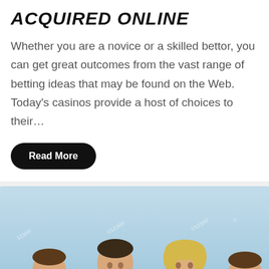ACQUIRED ONLINE
Whether you are a novice or a skilled bettor, you can get great outcomes from the vast range of betting ideas that may be found on the Web. Today's casinos provide a host of choices to their…
Read More
[Figure (photo): A stock photo of a happy family — two boys, a father, and a mother — lying in a meadow with yellow dandelion flowers, smiling at the camera. The image has stock photo watermarks.]